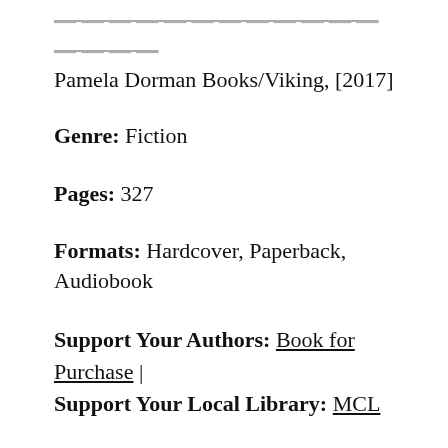Pamela Dorman Books/Viking, [2017]
Genre: Fiction
Pages: 327
Formats: Hardcover, Paperback, Audiobook
Support Your Authors: Book for Purchase | Support Your Local Library: MCL
What is the definition of polite social behavior? Does it mean you don't ever bother anyone with your troubles or your individual needs? And does this predicate the definition of loneliness, as the title page's quote from Olivia